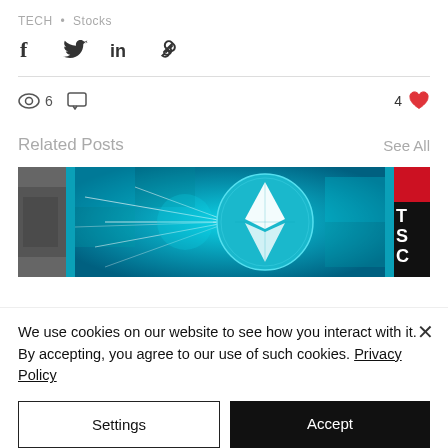TECH • Stocks
[Figure (infographic): Social share icons: Facebook (f), Twitter bird, LinkedIn (in), link/chain icon]
6 views, 0 comments, 4 likes
Related Posts
See All
[Figure (photo): Three related post thumbnail images side by side: left shows partial dark image, center shows Ethereum coin with digital network visualization on teal background, right shows partial dark image with red banner and text 'T S C']
We use cookies on our website to see how you interact with it. By accepting, you agree to our use of such cookies. Privacy Policy
Settings
Accept